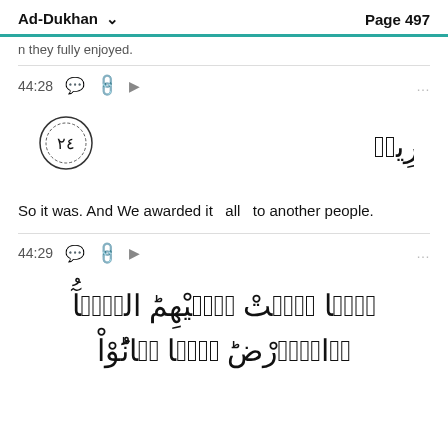Ad-Dukhan   Page 497
n they fully enjoyed.
44:28
[Figure (other): Arabic verse 28 of Ad-Dukhan: كَذَٰلِكَ ۖ وَأَوْرَثْنَٰهَا قَوْمًا ءَاخَرِينَ ﴿٢٨﴾]
So it was. And We awarded it   all   to another people.
44:29
[Figure (other): Arabic verse 29 of Ad-Dukhan begins: فَمَا بَكَتْ عَلَيْهِمُ السَّمَآءُ وَالْأَرْضُ وَمَا كَانُوا]